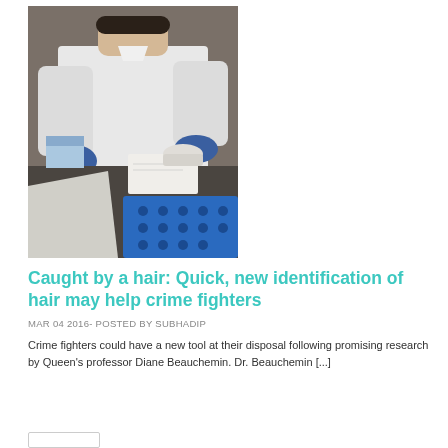[Figure (photo): A person in a white lab coat and blue gloves working at a laboratory bench, handling samples. There is a blue plastic crate with holes, specimen bags, and lab equipment visible on the dark bench surface.]
Caught by a hair: Quick, new identification of hair may help crime fighters
MAR 04 2016- POSTED BY SUBHADIP
Crime fighters could have a new tool at their disposal following promising research by Queen's professor Diane Beauchemin. Dr. Beauchemin [...]